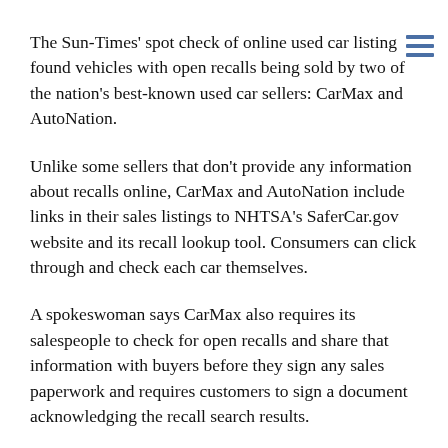The Sun-Times' spot check of online used car listing found vehicles with open recalls being sold by two of the nation's best-known used car sellers: CarMax and AutoNation.
Unlike some sellers that don't provide any information about recalls online, CarMax and AutoNation include links in their sales listings to NHTSA's SaferCar.gov website and its recall lookup tool. Consumers can click through and check each car themselves.
A spokeswoman says CarMax also requires its salespeople to check for open recalls and share that information with buyers before they sign any sales paperwork and requires customers to sign a document acknowledging the recall search results.
CarMax says it makes more sense for customers to